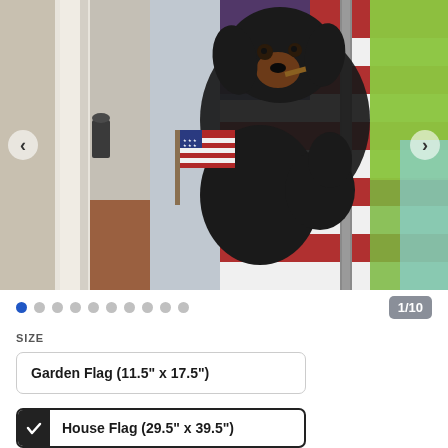[Figure (photo): A black dachshund dog with a small American flag, displayed on a house porch against a decorative American flag background with red, white, and blue stripes and stars. Navigation arrows visible on left and right sides.]
1/10
SIZE
Garden Flag (11.5" x 17.5")
House Flag (29.5" x 39.5")